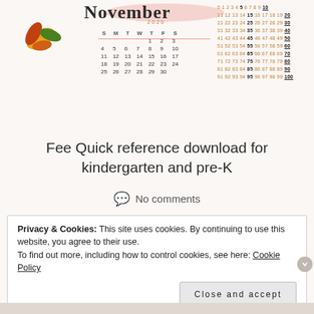[Figure (illustration): November 2020 calendar with decorative autumn leaves and script title, alongside a 1-100 number grid with every 5th number bolded and multiples of 10 underlined]
Fee Quick reference download for kindergarten and pre-K
No comments
Privacy & Cookies: This site uses cookies. By continuing to use this website, you agree to their use.
To find out more, including how to control cookies, see here: Cookie Policy
Close and accept